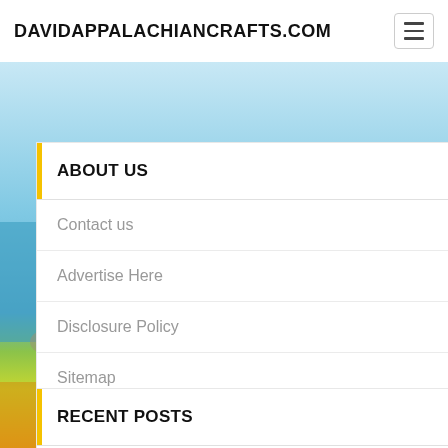DAVIDAPPALACHIANCRAFTS.COM
ABOUT US
Contact us
Advertise Here
Disclosure Policy
Sitemap
[Figure (photo): Tourism collage background image with blue sky, ocean, landmarks and wildlife]
RECENT POSTS
10 Sexy Getaway Journey Destinations